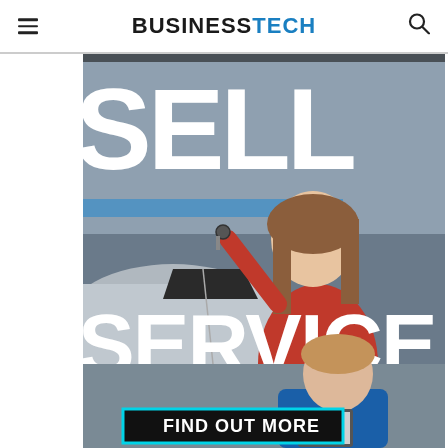BUSINESSTECH
[Figure (photo): Advertisement image showing 'SELF SERVICE' text overlaid on photos of a smiling woman holding car keys next to a vehicle and a male mechanic in blue uniform leaning over a car with a clipboard. A cyan-bordered black button at the bottom reads 'FIND OUT MORE'.]